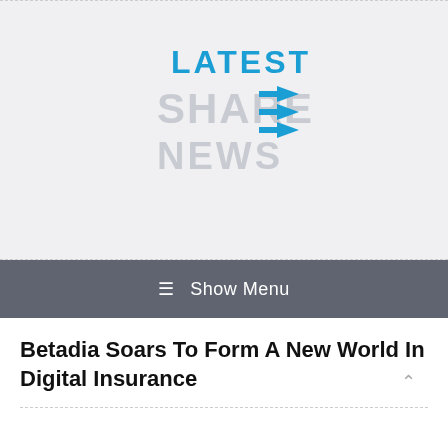[Figure (logo): Latest Share News logo with blue 'LATEST' text, grey 'SHARE' text, blue arrows, and grey 'NEWS' text]
≡ Show Menu
Betadia Soars To Form A New World In Digital Insurance